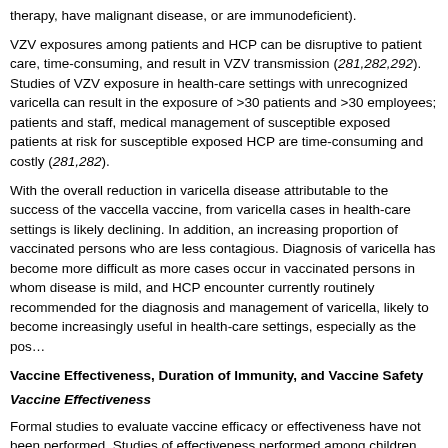therapy, have malignant disease, or are immunodeficient).
VZV exposures among patients and HCP can be disruptive to patient care, time-consuming, and result in VZV transmission (281,282,292). Studies of VZV exposure in health-care settings with unrecognized varicella can result in the exposure of >30 patients and >30 employees; patients and staff, medical management of susceptible exposed patients at risk for and susceptible exposed HCP are time-consuming and costly (281,282).
With the overall reduction in varicella disease attributable to the success of the varicella vaccine, from varicella cases in health-care settings is likely declining. In addition, an increasing proportion of vaccinated persons who are less contagious. Diagnosis of varicella has become more difficult as more cases occur in vaccinated persons in whom disease is mild, and HCP encounter currently routinely recommended for the diagnosis and management of varicella, likely to become increasingly useful in health-care settings, especially as the pos...
Vaccine Effectiveness, Duration of Immunity, and Vaccine Safety
Vaccine Effectiveness
Formal studies to evaluate vaccine efficacy or effectiveness have not been performed. Studies of effectiveness performed among children indicated good performance of 1 dose for effectiveness for prevention of moderate and severe disease (266,293). Studies have shown that 2 doses produces an improved humoral and cellular immune response that correlates with...
Varicella vaccine effectiveness is expected to be lower in adults than in children. Adults showed seroconversion rates similar to those seen in children after 1 dose (266). A study vaccine 4 or 8 weeks apart and were exposed subsequently to varicella in the household expected number of cases (295).
Duration of Immunity